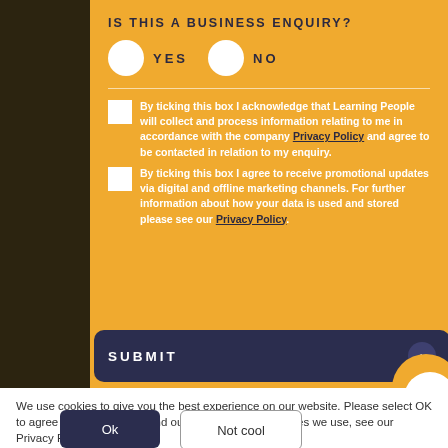IS THIS A BUSINESS ENQUIRY?
YES
NO
By ticking this box I acknowledge that Learning People will collect and process information relating to me in accordance with the company Privacy Policy and agree to be contacted in relation to my enquiry.
By ticking this box I agree to receive promotional updates via digital and offline marketing channels. For further information about how your data is used and stored please see our Privacy Policy.
SUBMIT
We use cookies to give you the best experience on our website. Please select OK to agree and continue. To find out more about the cookies we use, see our Privacy Policy.
Ok
Not cool